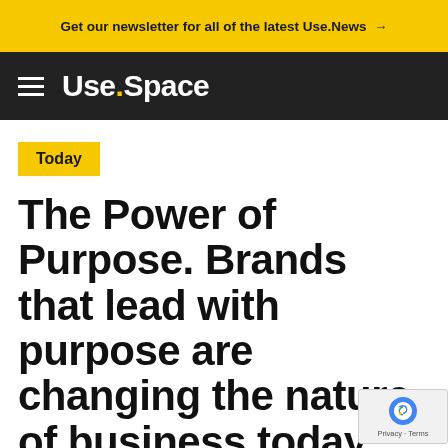Get our newsletter for all of the latest Use.News →
Use.Space
Today
The Power of Purpose. Brands that lead with purpose are changing the nature of business today.